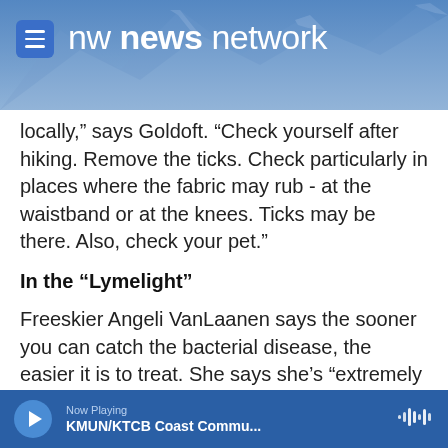nw news network
locally," says Goldoft. "Check yourself after hiking. Remove the ticks. Check particularly in places where the fabric may rub - at the waistband or at the knees. Ticks may be there. Also, check your pet."
In the "Lymelight"
Freeskier Angeli VanLaanen says the sooner you can catch the bacterial disease, the easier it is to treat. She says she's "extremely excited" to arrive on the world's biggest stage to talk about things she cares about.
Now Playing KMUN/KTCB Coast Commu...